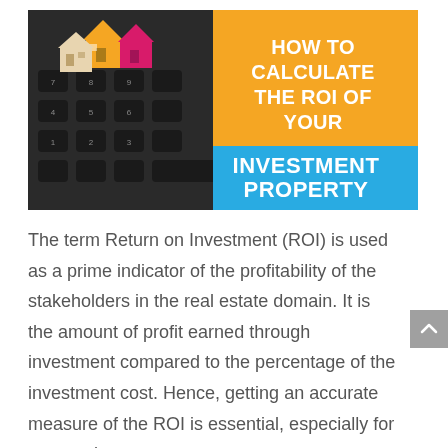[Figure (illustration): Promotional banner with orange background showing miniature house models on a calculator keyboard (left side photo), with white bold text on the right reading 'HOW TO CALCULATE THE ROI OF YOUR' and a blue bottom band with white text 'INVESTMENT PROPERTY']
The term Return on Investment (ROI) is used as a prime indicator of the profitability of the stakeholders in the real estate domain. It is the amount of profit earned through investment compared to the percentage of the investment cost. Hence, getting an accurate measure of the ROI is essential, especially for your real